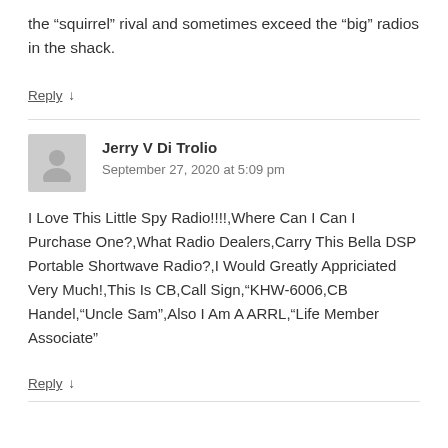the “squirrel” rival and sometimes exceed the “big” radios in the shack.
Reply ↓
Jerry V Di Trolio
September 27, 2020 at 5:09 pm
I Love This Little Spy Radio!!!!,Where Can I Can I Purchase One?,What Radio Dealers,Carry This Bella DSP Portable Shortwave Radio?,I Would Greatly Appriciated Very Much!,This Is CB,Call Sign,“KHW-6006,CB Handel,“Uncle Sam”,Also I Am A ARRL,“Life Member Associate”
Reply ↓